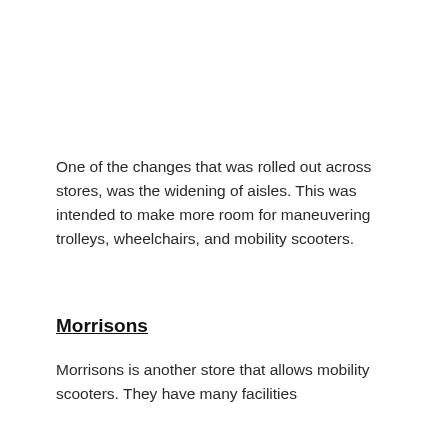One of the changes that was rolled out across stores, was the widening of aisles. This was intended to make more room for maneuvering trolleys, wheelchairs, and mobility scooters.
Morrisons
Morrisons is another store that allows mobility scooters. They have many facilities